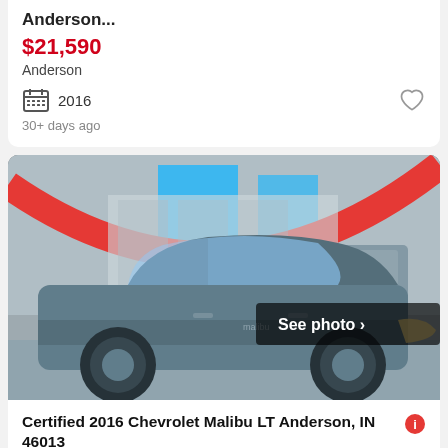Anderson...
$21,590
Anderson
2016
30+ days ago
[Figure (photo): Gray Chevrolet Malibu parked at a dealership with red arch and blue accents in background. Button overlay reads 'See photo >']
Certified 2016 Chevrolet Malibu LT Anderson, IN 46013
$15,990
Anderson